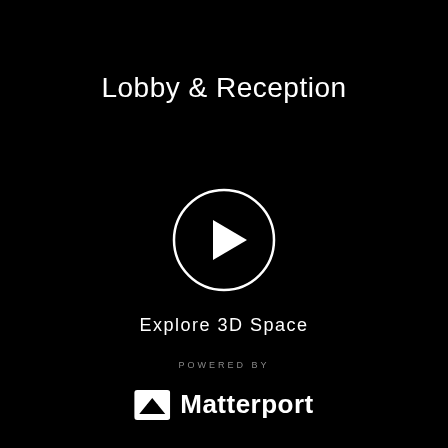Lobby & Reception
[Figure (illustration): A circular play button with white outline circle and white filled triangle pointing right, centered on a black background]
Explore 3D Space
POWERED BY
[Figure (logo): Matterport logo: white house/map icon followed by white bold text 'Matterport']